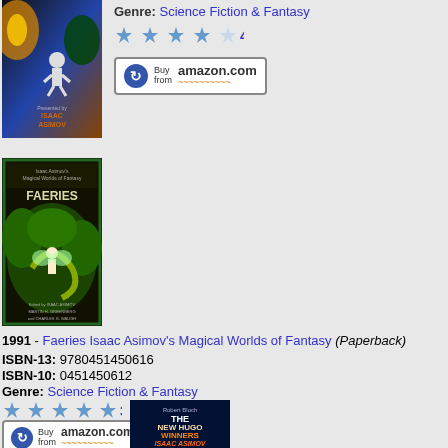[Figure (photo): Book cover image - Isaac Asimov science fiction book, top portion visible]
Genre: Science Fiction & Fantasy
★★★★☆ 4
[Figure (other): Buy from amazon.com button]
[Figure (photo): Book cover - Faeries Isaac Asimov's Magical Worlds of Fantasy]
1991 - Faeries Isaac Asimov's Magical Worlds of Fantasy (Paperback)
ISBN-13: 9780451450616
ISBN-10: 0451450612
Genre: Science Fiction & Fantasy
★★★★★ 3
[Figure (other): Buy from amazon.com button]
[Figure (photo): Book cover - The New Hugo Winners Isaac Asimov, partial view]